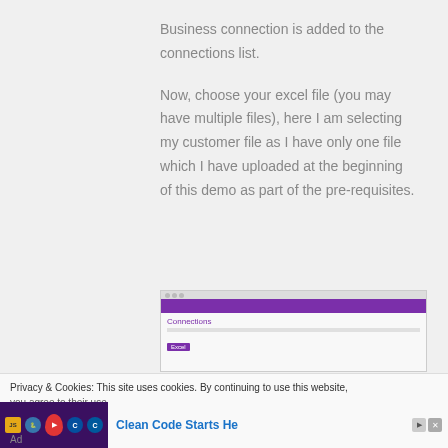Business connection is added to the connections list.
Now, choose your excel file (you may have multiple files), here I am selecting my customer file as I have only one file which I have uploaded at the beginning of this demo as part of the pre-requisites.
[Figure (screenshot): Screenshot of a connections interface in a purple-themed web application showing a 'Connections' panel with a selected item highlighted in purple.]
Privacy & Cookies: This site uses cookies. By continuing to use this website, you agree to their use.
[Figure (advertisement): Advertisement banner with programming language icons (JS, Python, C++) and a red location pin on dark purple background, with text 'Clean Code Starts He...' and play/close controls.]
Ad